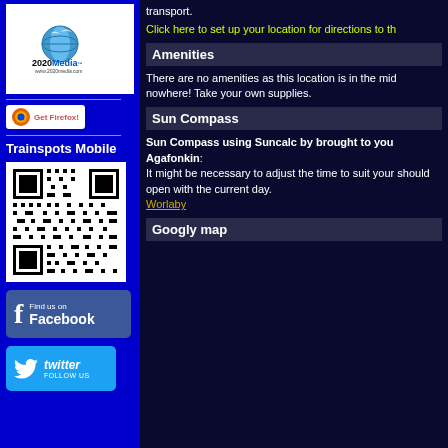[Figure (logo): 2020Media logo with globe icon, www.2020media.com]
[Figure (logo): Get Firefox! badge]
Trainspots Mobile
[Figure (other): QR code for Trainspots Mobile]
[Figure (logo): Find us on Facebook button]
[Figure (logo): Twitter FOLLOW US button]
transport.
Click here to set up your location for directions to th
Amenities
There are no amenities as this location is in the mid nowhere! Take your own supplies.
Sun Compass
Sun Compass using Suncalc by brought to you Agafonkin: It might be necessary to adjust the time to suit your should open with the current day.
Worlaby
Googly map